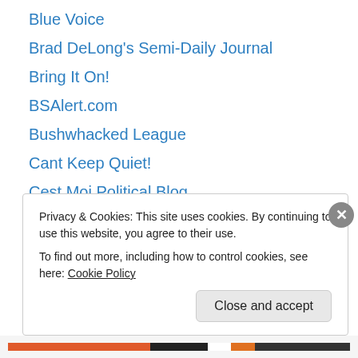Blue Voice
Brad DeLong's Semi-Daily Journal
Bring It On!
BSAlert.com
Bushwhacked League
Cant Keep Quiet!
Cest Moi Political Blog
Change of Subject (Eric Zorn)
City Journal
Climate Debate Daily
Committee to Draft Michael Bloomberg
Coyote's Byte
Crooks and Liars
Privacy & Cookies: This site uses cookies. By continuing to use this website, you agree to their use.
To find out more, including how to control cookies, see here: Cookie Policy
Close and accept